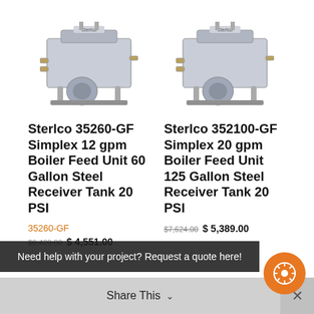[Figure (photo): Photo of Sterlco 35260-GF Simplex Boiler Feed Unit, stainless steel tank with pump assembly]
[Figure (photo): Photo of Sterlco 352100-GF Simplex Boiler Feed Unit, stainless steel tank with pump assembly]
Sterlco 35260-GF Simplex 12 gpm Boiler Feed Unit 60 Gallon Steel Receiver Tank 20 PSI
Sterlco 352100-GF Simplex 20 gpm Boiler Feed Unit 125 Gallon Steel Receiver Tank 20 PSI
35260-GF
$6,429.00  $ 4,551.00
$7,624.00  $ 5,389.00
Need help with your project? Request a quote here!
Share This